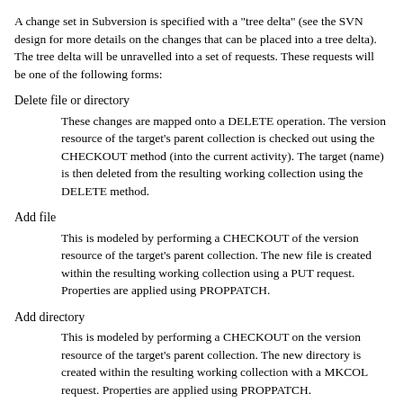A change set in Subversion is specified with a "tree delta" (see the SVN design for more details on the changes that can be placed into a tree delta). The tree delta will be unravelled into a set of requests. These requests will be one of the following forms:
Delete file or directory
These changes are mapped onto a DELETE operation. The version resource of the target's parent collection is checked out using the CHECKOUT method (into the current activity). The target (name) is then deleted from the resulting working collection using the DELETE method.
Add file
This is modeled by performing a CHECKOUT of the version resource of the target's parent collection. The new file is created within the resulting working collection using a PUT request. Properties are applied using PROPPATCH.
Add directory
This is modeled by performing a CHECKOUT on the version resource of the target's parent collection. The new directory is created within the resulting working collection with a MKCOL request. Properties are applied using PROPPATCH.